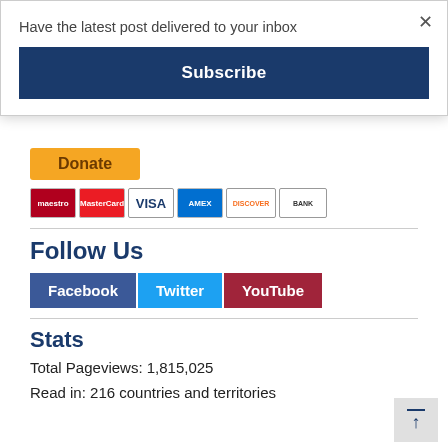Have the latest post delivered to your inbox
Subscribe
[Figure (screenshot): Orange Donate button with payment method icons below (Maestro, Mastercard, Visa, American Express, Discover, Bank)]
Follow Us
Facebook Twitter YouTube
Stats
Total Pageviews: 1,815,025
Read in: 216 countries and territories